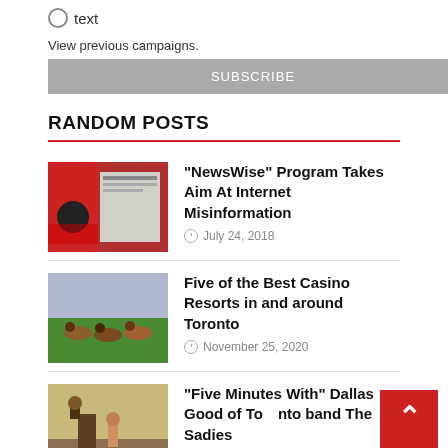text
View previous campaigns.
SUBSCRIBE
RANDOM POSTS
"NewsWise" Program Takes Aim At Internet Misinformation
July 24, 2018
Five of the Best Casino Resorts in and around Toronto
November 25, 2020
"Five Minutes With" Dallas Good of Toronto band The Sadies
June 5, 2018